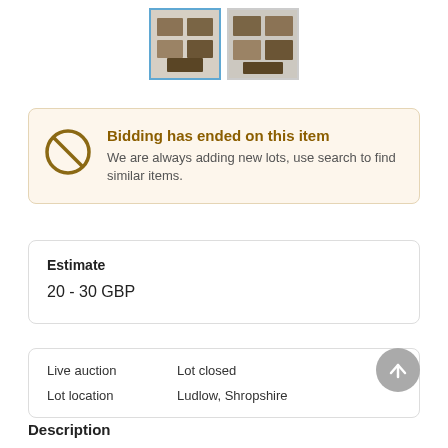[Figure (photo): Two thumbnail images of auction lot items (small photographs), first one selected with blue border]
Bidding has ended on this item
We are always adding new lots, use search to find similar items.
Estimate
20 - 30 GBP
| Live auction | Lot closed |
| Lot location | Ludlow, Shropshire |
Description